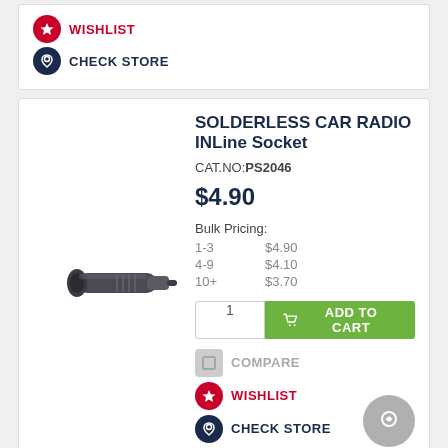[Figure (other): Wishlist icon (red star circle) and Check Store icon (dark map pin circle) - top card action buttons]
[Figure (photo): Photo of a solderless car radio inline socket connector - black cylindrical metal/plastic component]
SOLDERLESS CAR RADIO INLine Socket
CAT.NO:PS2046
$4.90
Bulk Pricing:
1-3   $4.90
4-9   $4.10
10+  $3.70
ADD TO CART
COMPARE
WISHLIST
CHECK STORE